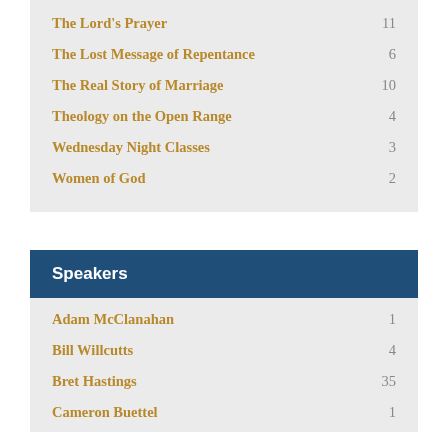The Lord's Prayer  11
The Lost Message of Repentance  6
The Real Story of Marriage  10
Theology on the Open Range  4
Wednesday Night Classes  3
Women of God  2
Speakers
Adam McClanahan  1
Bill Willcutts  4
Bret Hastings  35
Cameron Buettel  1